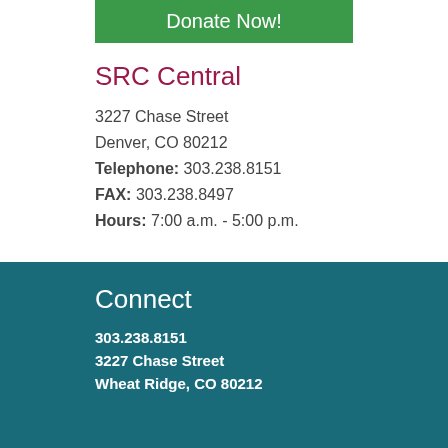Donate Now!
SRC Central
3227 Chase Street
Denver, CO 80212
Telephone: 303.238.8151
FAX: 303.238.8497
Hours: 7:00 a.m. - 5:00 p.m.
Connect
303.238.8151
3227 Chase Street
Wheat Ridge, CO 80212